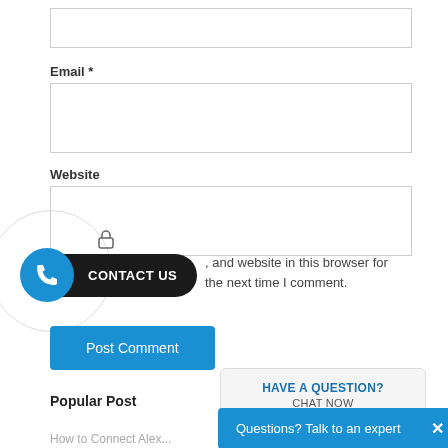[empty input box]
Email *
[email input box]
Website
[website input box]
[Figure (infographic): CONTACT US pill button with blue phone icon circle on left and dark rounded label on right]
, and website in this browser for the next time I comment.
[Figure (screenshot): Post Comment blue button]
[Figure (infographic): HAVE A QUESTION? CHAT NOW widget popup]
Popular Post
[Figure (infographic): Questions? Talk to an expert blue chat bar with X close button]
How to Connect Alex...